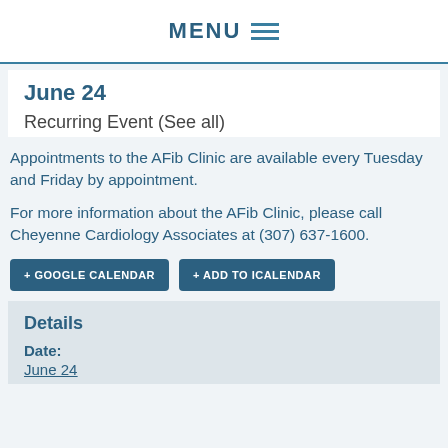MENU
June 24
Recurring Event (See all)
Appointments to the AFib Clinic are available every Tuesday and Friday by appointment.
For more information about the AFib Clinic, please call Cheyenne Cardiology Associates at (307) 637-1600.
+ GOOGLE CALENDAR
+ ADD TO ICALENDAR
Details
Date: June 24